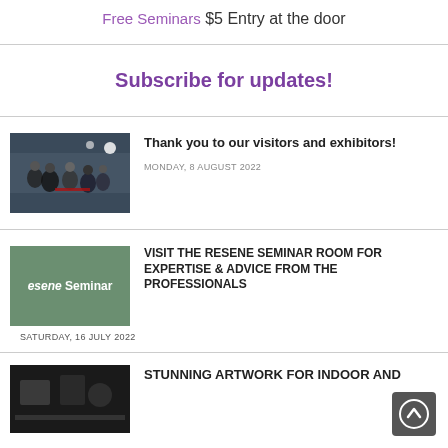Free Seminars
$5 Entry at the door
Subscribe for updates!
[Figure (photo): People at exhibition entrance with masks, indoor event hall]
Thank you to our visitors and exhibitors!
MONDAY, 8 AUGUST 2022
[Figure (photo): Green Resene Seminar Room sign/banner]
VISIT THE RESENE SEMINAR ROOM FOR EXPERTISE & ADVICE FROM THE PROFESSIONALS
SATURDAY, 16 JULY 2022
[Figure (photo): Dark background artwork display]
STUNNING ARTWORK FOR INDOOR AND